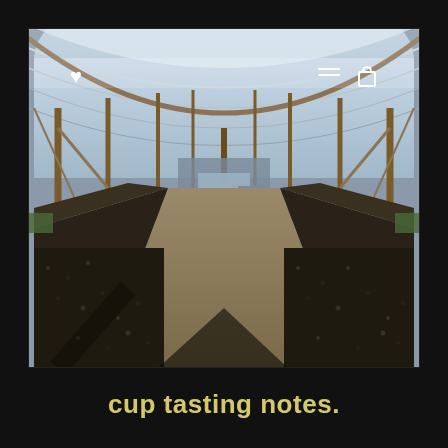[Figure (photo): Interior of a large agricultural greenhouse or drying tunnel with arched translucent roof supported by wooden and metal poles. The floor shows rows of dark coffee beans or similar crop laid out to dry on the ground, with pathways between them. Natural light filters through the plastic roof creating shadows. A vehicle is visible in the background at the far end.]
cup tasting notes.